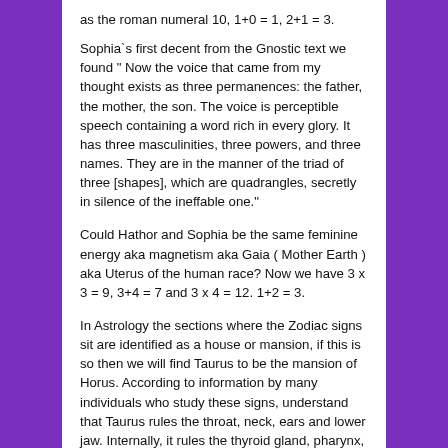as the roman numeral 10, 1+0 = 1, 2+1 = 3.
Sophia`s first decent from the Gnostic text we found " Now the voice that came from my thought exists as three permanences: the father, the mother, the son. The voice is perceptible speech containing a word rich in every glory. It has three masculinities, three powers, and three names. They are in the manner of the triad of three [shapes], which are quadrangles, secretly in silence of the ineffable one."
Could Hathor and Sophia be the same feminine energy aka magnetism aka Gaia ( Mother Earth ) aka Uterus of the human race? Now we have 3 x 3 = 9, 3+4 = 7 and 3 x 4 = 12. 1+2 = 3.
In Astrology the sections where the Zodiac signs sit are identified as a house or mansion, if this is so then we will find Taurus to be the mansion of Horus. According to information by many individuals who study these signs, understand that Taurus rules the throat, neck, ears and lower jaw. Internally, it rules the thyroid gland, pharynx,